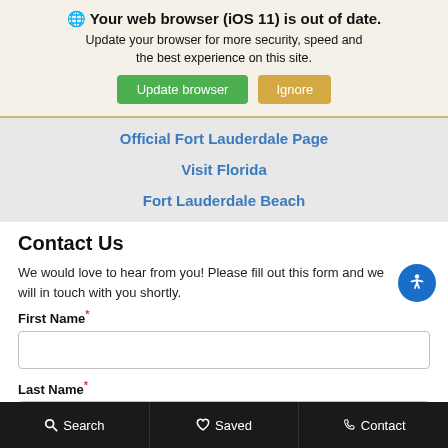🌐 Your web browser (iOS 11) is out of date. Update your browser for more security, speed and the best experience on this site.
Update browser | Ignore
Official Fort Lauderdale Page
Visit Florida
Fort Lauderdale Beach
Contact Us
We would love to hear from you! Please fill out this form and we will in touch with you shortly.
First Name*
Last Name*
Search | Saved | Contact